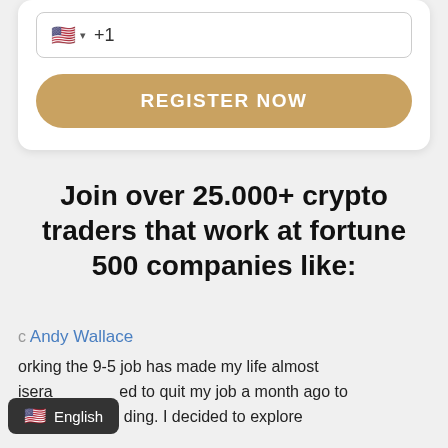[Figure (screenshot): Phone number input field with US flag, dropdown arrow, and +1 country code]
[Figure (screenshot): Gold/tan rounded button with text REGISTER NOW]
Join over 25.000+ crypto traders that work at fortune 500 companies like:
Andy Wallace
orking the 9-5 job has made my life almost isera ed to quit my job a month ago to ke u ding. I decided to explore
[Figure (screenshot): Language selector bar showing US flag and English label]